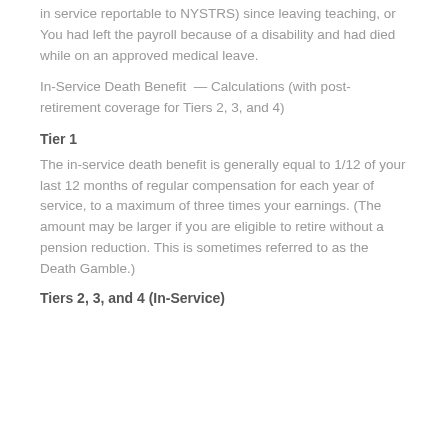in service reportable to NYSTRS) since leaving teaching, or You had left the payroll because of a disability and had died while on an approved medical leave.
In-Service Death Benefit — Calculations (with post-retirement coverage for Tiers 2, 3, and 4)
Tier 1
The in-service death benefit is generally equal to 1/12 of your last 12 months of regular compensation for each year of service, to a maximum of three times your earnings. (The amount may be larger if you are eligible to retire without a pension reduction. This is sometimes referred to as the Death Gamble.)
Tiers 2, 3, and 4 (In-Service)